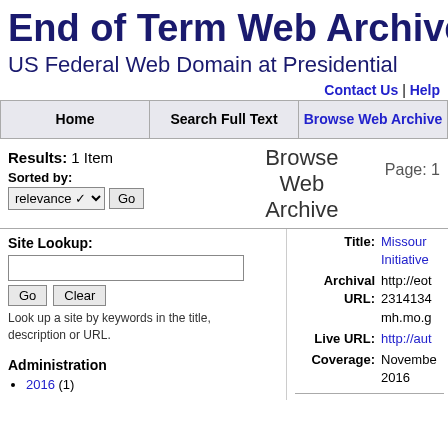End of Term Web Archive
US Federal Web Domain at Presidential
Contact Us | Help
| Home | Search Full Text | Browse Web Archive |
| --- | --- | --- |
Results: 1 Item
Browse Web Archive
Page: 1
Sorted by: relevance Go
Site Lookup:
Go  Clear
Look up a site by keywords in the title, description or URL.
Administration
2016 (1)
Title: Missouri Initiative
Archival URL: http://eot 2314134 mh.mo.g
Live URL: http://aut
Coverage: November 2016